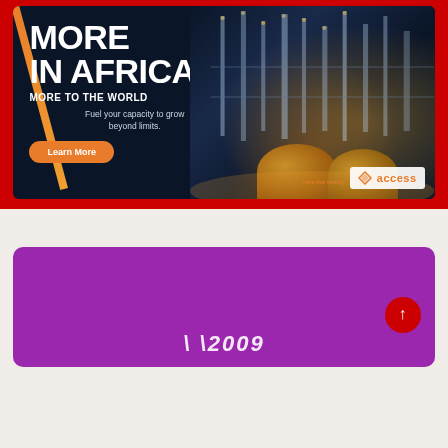[Figure (infographic): Access Bank advertisement banner on red background. Dark blue background with industrial refinery/oil facility at night on the right. Left side shows large white bold text reading MORE IN AFRICA / MORE TO THE WORLD / Fuel your capacity to grow beyond limits. with an orange Learn More button. Bottom right shows Access Bank logo with diamond icon and tagline more than banking. Orange diagonal stripe accent on left edge.]
[Figure (infographic): Purple/magenta rounded card with a scroll-to-top red circle button with white upward arrow on the right side. Decorative white italic stylized text at the bottom of the card.]